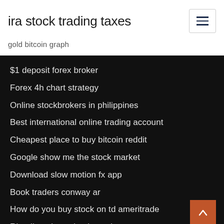ira stock trading taxes
gold bitcoin graph
$1 deposit forex broker
Forex 4h chart strategy
Online stockbrokers in philippines
Best international online trading account
Cheapest place to buy bitcoin reddit
Google show me the stock market
Download slow motion fx app
Book traders conway ar
How do you buy stock on td ameritrade
Rbc direct investing incentives